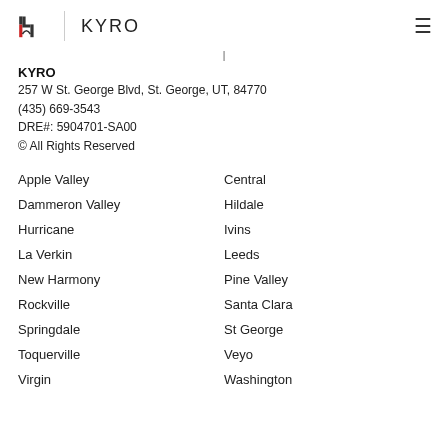KYRO
KYRO
257 W St. George Blvd, St. George, UT, 84770
(435) 669-3543
DRE#: 5904701-SA00
© All Rights Reserved
Apple Valley
Central
Dammeron Valley
Hildale
Hurricane
Ivins
La Verkin
Leeds
New Harmony
Pine Valley
Rockville
Santa Clara
Springdale
St George
Toquerville
Veyo
Virgin
Washington